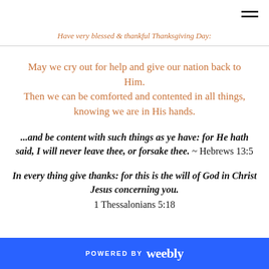Have very blessed & thankful Thanksgiving Day:
May we cry out for help and give our nation back to Him. Then we can be comforted and contented in all things, knowing we are in His hands.
...and be content with such things as ye have: for He hath said, I will never leave thee, or forsake thee. ~ Hebrews 13:5
In every thing give thanks: for this is the will of God in Christ Jesus concerning you. 1 Thessalonians 5:18
POWERED BY weebly